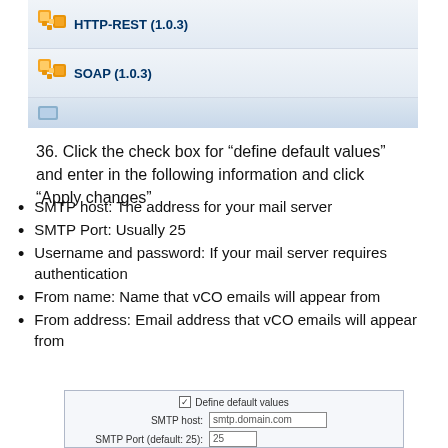[Figure (screenshot): Screenshot showing a list with two plugin entries: HTTP-REST (1.0.3) and SOAP (1.0.3), each with an orange puzzle-piece icon, on a blue-grey gradient background. A partial third row is visible at the bottom.]
36. Click the check box for “define default values” and enter in the following information and click “Apply changes”
SMTP host: The address for your mail server
SMTP Port: Usually 25
Username and password: If your mail server requires authentication
From name: Name that vCO emails will appear from
From address: Email address that vCO emails will appear from
[Figure (screenshot): Screenshot of a form with 'Define default values' checkbox checked, SMTP host field showing 'smtp.domain.com', and SMTP Port (default: 25) field showing '25'.]